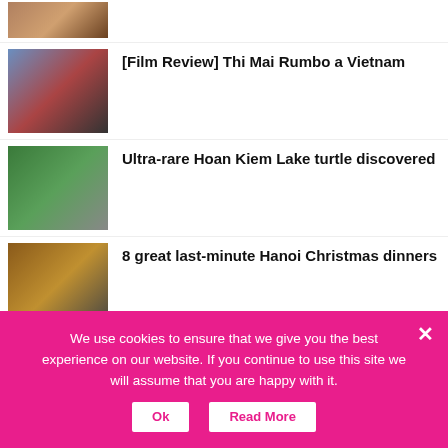[Figure (photo): Partial image of food at top of page]
[Figure (photo): Movie poster for Thi Mai Rumbo a Vietnam showing two people with Vietnamese hats]
[Film Review] Thi Mai Rumbo a Vietnam
[Figure (photo): Photo of Hoan Kiem Lake with pagoda and trees]
Ultra-rare Hoan Kiem Lake turtle discovered
[Figure (photo): Photo of Christmas dinner food spread]
8 great last-minute Hanoi Christmas dinners
[Figure (photo): Photo related to Vietnam instant noodles]
Vietnam's top 5 instant noodles, maybe
[Figure (photo): Photo for Boogie Burger review]
[Review] Boogie Burger
We use cookies to ensure that we give you the best experience on our website. If you continue to use this site we will assume that you are happy with it.